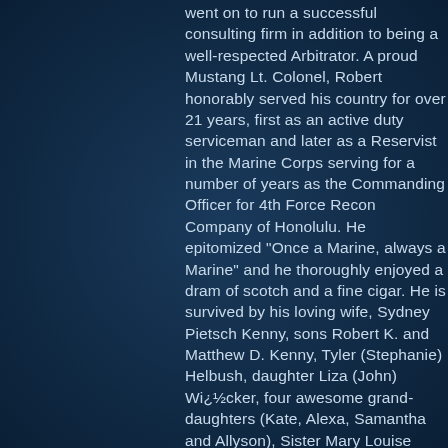went on to run a successful consulting firm in addition to being a well-respected Arbitrator. A proud Mustang Lt. Colonel, Robert honorably served his country for over 21 years, first as an active duty serviceman and later as a Reservist in the Marine Corps serving for a number of years as the Commanding Officer for 4th Force Recon Company of Honolulu. He epitomized "Once a Marine, always a Marine" and he thoroughly enjoyed a dram of scotch and a fine cigar. He is survived by his loving wife, Sydney Pietsch Kenny, sons Robert K. and Matthew D. Kenny, Tyler (Stephanie) Helbush, daughter Liza (John) Wi¿½cker, four awesome grand-daughters (Kate, Alexa, Samantha and Allyson), Sister Mary Louise Miller and a niece and two nephews. Private services will be held at Punchbowl National Cemetery. Bob's life and birthday will be celebrated on November 1, 2014 from 11:00 a.m. to 2:00 p.m. at Murphy's. Donations in